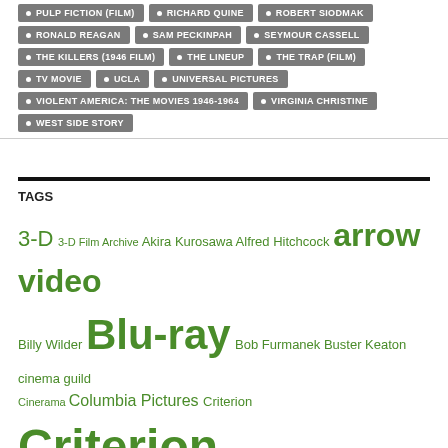PULP FICTION (FILM)
RICHARD QUINE
ROBERT SIODMAK
RONALD REAGAN
SAM PECKINPAH
SEYMOUR CASSELL
THE KILLERS (1946 FILM)
THE LINEUP
THE TRAP (FILM)
TV MOVIE
UCLA
UNIVERSAL PICTURES
VIOLENT AMERICA: THE MOVIES 1946-1964
VIRGINIA CHRISTINE
WEST SIDE STORY
TAGS
3-D 3-D Film Archive Akira Kurosawa Alfred Hitchcock arrow video Billy Wilder Blu-ray Bob Furmanek Buster Keaton cinema guild Cinerama Columbia Pictures Criterion Criterion Collection documentary Don Siegel DVD Elvis Presley film noir Flicker Alley Fritz Lang George Lucas Greg Kintz Harry Cohn Humphrey